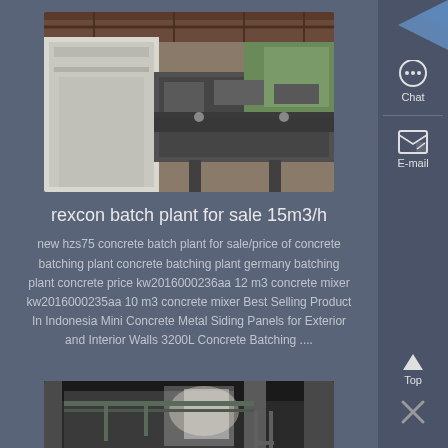[Figure (photo): Industrial concrete batch plant machinery with white silo structure and metal conveyor belt in a covered facility]
rexcon batch plant for sale 15m3/h
new hzs75 concrete batch plant for sale/price of concrete batching plant concrete batching plant germany batching plant concrete price kw2016000236aa 12 m3 concrete mixer kw2016000235aa 10 m3 concrete mixer Best Selling Product In Indonesia Mini Concrete Metal Siding Panels for Exterior and Interior Walls 3200L Concrete Batching ....
[Figure (photo): Interior of a concrete batching plant facility showing pipes, tanks, and industrial equipment in a large warehouse]
rexcon batch plant for sale